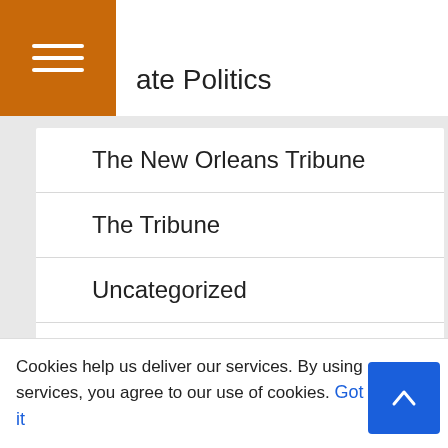ate Politics
The New Orleans Tribune
The Tribune
Uncategorized
VIRUS
White is Right
Cookies help us deliver our services. By using our services, you agree to our use of cookies. Got it